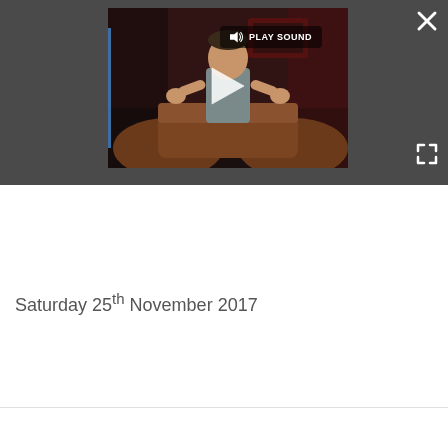[Figure (screenshot): A video player screenshot showing a man sitting on a brown leather sofa in a studio with red lighting. The video panel has a dark gray background, a play button in the center, a 'PLAY SOUND' button with a speaker icon in the top left of the video, a close (X) button in the top right, and a fullscreen button in the bottom right.]
Saturday 25th November 2017